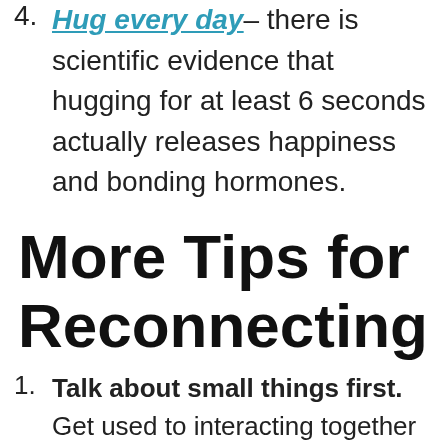4. Hug every day– there is scientific evidence that hugging for at least 6 seconds actually releases happiness and bonding hormones.
More Tips for Reconnecting
1. Talk about small things first. Get used to interacting together without your kids. Every